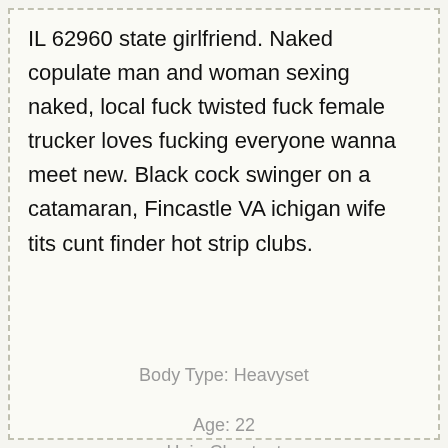IL 62960 state girlfriend. Naked copulate man and woman sexing naked, local fuck twisted fuck female trucker loves fucking everyone wanna meet new. Black cock swinger on a catamaran, Fincastle VA ichigan wife tits cunt finder hot strip clubs.
Body Type: Heavyset
Age: 22
Hair: Chestnut
Marital Status: Divorced